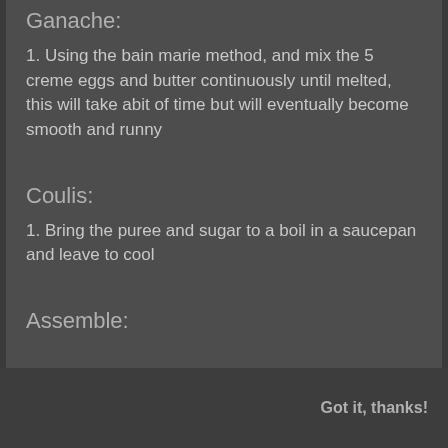Ganache:
1. Using the bain marie method, and mix the 5 creme eggs and butter continuously until melted, this will take abit of time but will eventually become smooth and runny
Coulis:
1. Bring the puree and sugar to a boil in a saucepan and leave to cool
Assemble:
Got it, thanks!